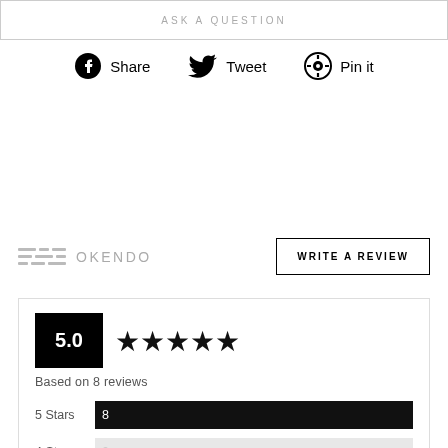ASK A QUESTION
Share   Tweet   Pin it
[Figure (other): Okendo branding with horizontal line icon and WRITE A REVIEW button]
| Rating | Count |
| --- | --- |
| 5.0 - Based on 8 reviews |  |
| 5 Stars | 8 |
| 4 Stars | 0 |
| 3 Stars | 0 |
| 2 Stars | 0 |